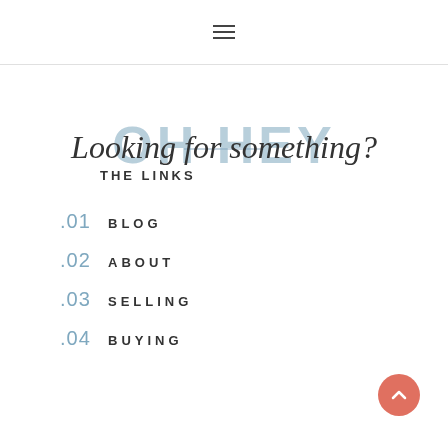☰
OH HEY / Looking for something?
THE LINKS
.01 BLOG
.02 ABOUT
.03 SELLING
.04 BUYING